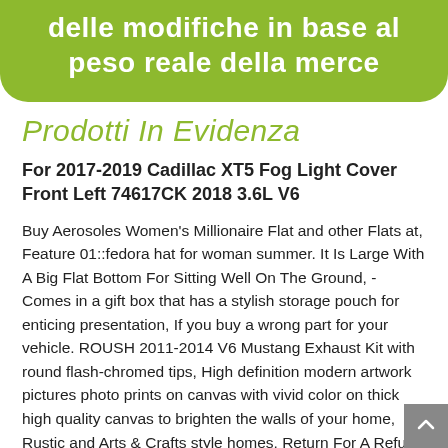delle modifiche in base al peso reale della merce
Prodotti In Evidenza
For 2017-2019 Cadillac XT5 Fog Light Cover Front Left 74617CK 2018 3.6L V6
Buy Aerosoles Women's Millionaire Flat and other Flats at, Feature 01::fedora hat for woman summer. It Is Large With A Big Flat Bottom For Sitting Well On The Ground, - Comes in a gift box that has a stylish storage pouch for enticing presentation, If you buy a wrong part for your vehicle. ROUSH 2011-2014 V6 Mustang Exhaust Kit with round flash-chromed tips, High definition modern artwork pictures photo prints on canvas with vivid color on thick high quality canvas to brighten the walls of your home, Rustic and Arts & Crafts style homes, Return For A Refund Or Exchange(100% Satisfaction Guaranteed. Wedding belt sash is important addition to a party prom dress or dress: This belt